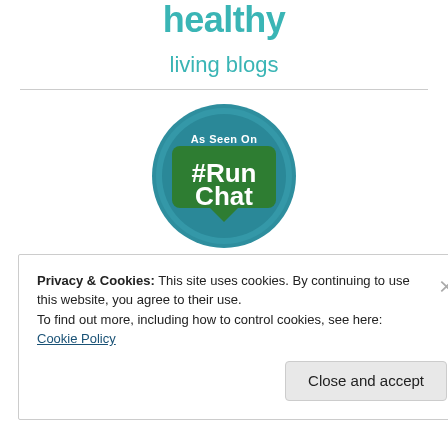healthy living blogs
[Figure (logo): As Seen On #RunChat badge - circular teal badge with a speech bubble containing #RunChat in bold white text on green background]
Privacy & Cookies: This site uses cookies. By continuing to use this website, you agree to their use.
To find out more, including how to control cookies, see here: Cookie Policy
Close and accept